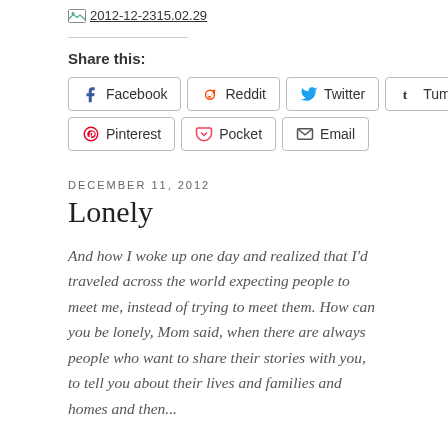[Figure (screenshot): Small image thumbnail/broken image icon with filename link: 2012-12-2315.02.29]
Share this:
Facebook  Reddit  Twitter  Tumblr  Pinterest  Pocket  Email
DECEMBER 11, 2012
Lonely
And how I woke up one day and realized that I'd traveled across the world expecting people to meet me, instead of trying to meet them. How can you be lonely, Mom said, when there are always people who want to share their stories with you, to tell you about their lives and families and homes and then...